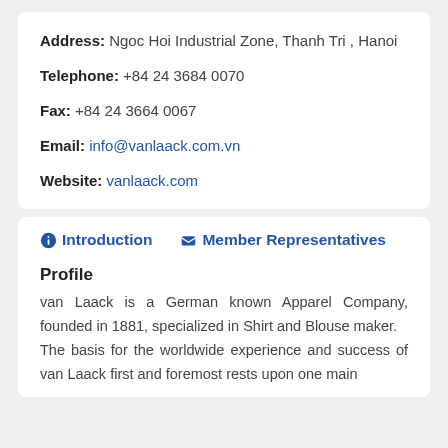Address: Ngoc Hoi Industrial Zone, Thanh Tri , Hanoi
Telephone: +84 24 3684 0070
Fax: +84 24 3664 0067
Email: info@vanlaack.com.vn
Website: vanlaack.com
Introduction   Member Representatives
Profile
van Laack is a German known Apparel Company, founded in 1881, specialized in Shirt and Blouse maker.
The basis for the worldwide experience and success of van Laack first and foremost rests upon one main